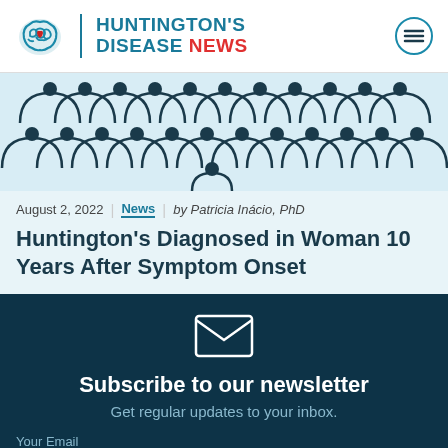Huntington's Disease News
[Figure (illustration): Illustration of people figures silhouette pattern in dark teal on light blue background]
August 2, 2022 | News | by Patricia Inácio, PhD
Huntington's Diagnosed in Woman 10 Years After Symptom Onset
Subscribe to our newsletter
Get regular updates to your inbox.
Your Email